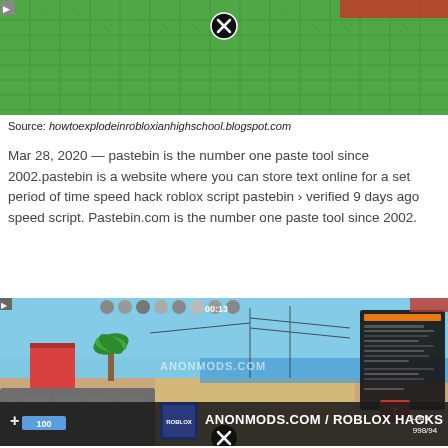[Figure (screenshot): Roblox game screenshot showing green tiled floor with X close button overlay]
Source: howtoexplodeinrobloxianhighschool.blogspot.com
Mar 28, 2020 — pastebin is the number one paste tool since 2002.pastebin is a website where you can store text online for a set period of time speed hack roblox script pastebin › verified 9 days ago speed script. Pastebin.com is the number one paste tool since 2002.
[Figure (screenshot): Roblox game screenshot with ANONMODS.COM / ROBLOX HACKS watermark, showing a beach/outdoor scene with UI panel, player icons at top, and close button at bottom]